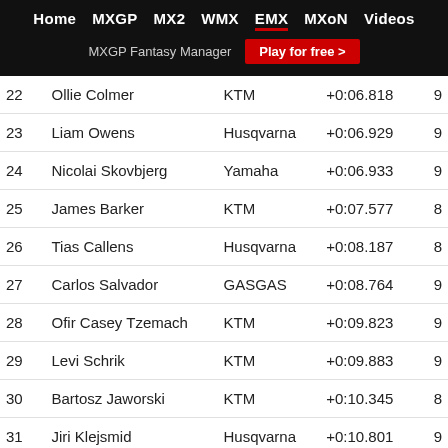Home  MXGP  MX2  WMX  EMX  MXoN  Videos
MXGP Fantasy Manager  Play for free >
| Pos | Name | Brand | Time | Laps |
| --- | --- | --- | --- | --- |
| 22 | Ollie Colmer | KTM | +0:06.818 | 9 |
| 23 | Liam Owens | Husqvarna | +0:06.929 | 9 |
| 24 | Nicolai Skovbjerg | Yamaha | +0:06.933 | 9 |
| 25 | James Barker | KTM | +0:07.577 | 8 |
| 26 | Tias Callens | Husqvarna | +0:08.187 | 8 |
| 27 | Carlos Salvador | GASGAS | +0:08.764 | 9 |
| 28 | Ofir Casey Tzemach | KTM | +0:09.823 | 9 |
| 29 | Levi Schrik | KTM | +0:09.883 | 9 |
| 30 | Bartosz Jaworski | KTM | +0:10.345 | 8 |
| 31 | Jiri Klejsmid | Husqvarna | +0:10.801 | 9 |
| 32 | Erez Melman | KTM | +0:11.080 | 9 |